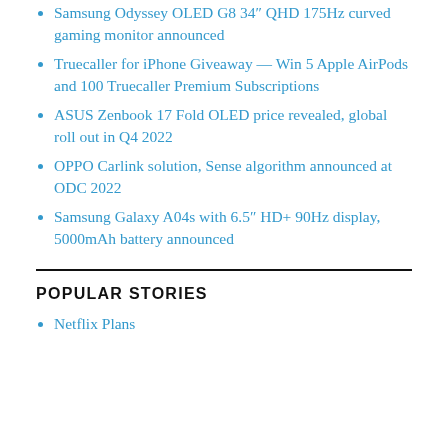Samsung Odyssey OLED G8 34″ QHD 175Hz curved gaming monitor announced
Truecaller for iPhone Giveaway — Win 5 Apple AirPods and 100 Truecaller Premium Subscriptions
ASUS Zenbook 17 Fold OLED price revealed, global roll out in Q4 2022
OPPO Carlink solution, Sense algorithm announced at ODC 2022
Samsung Galaxy A04s with 6.5″ HD+ 90Hz display, 5000mAh battery announced
POPULAR STORIES
Netflix Plans